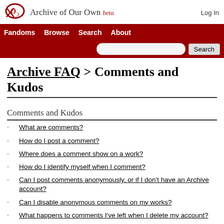Archive of Our Own beta — Log In
Archive FAQ > Comments and Kudos
Comments and Kudos
What are comments?
How do I post a comment?
Where does a comment show on a work?
How do I identify myself when I comment?
Can I post comments anonymously, or if I don't have an Archive account?
Can I disable anonymous comments on my works?
What happens to comments I've left when I delete my account?
What happens to comments and/or kudos I've left when I change my username?